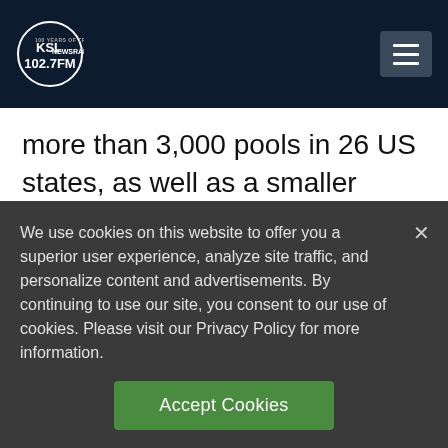[Figure (logo): KSL NewsRadio 102.7 FM logo with circle and hamburger menu button on dark navy header bar]
more than 3,000 pools in 26 US states, as well as a smaller selection in Canada and Australia.
Safety and hygiene guaranteed
We use cookies on this website to offer you a superior user experience, analyze site traffic, and personalize content and advertisements. By continuing to use our site, you consent to our use of cookies. Please visit our Privacy Policy for more information.
Accept Cookies